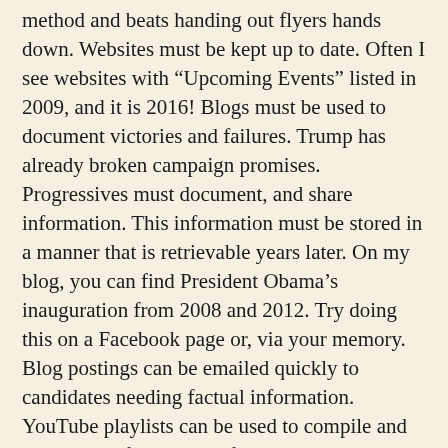method and beats handing out flyers hands down. Websites must be kept up to date. Often I see websites with “Upcoming Events” listed in 2009, and it is 2016! Blogs must be used to document victories and failures. Trump has already broken campaign promises. Progressives must document, and share information. This information must be stored in a manner that is retrievable years later. On my blog, you can find President Obama’s inauguration from 2008 and 2012. Try doing this on a Facebook page or, via your memory. Blog postings can be emailed quickly to candidates needing factual information. YouTube playlists can be used to compile and email lists of hundreds of videos, several hours long. This can be used to document facts captured on video then used to educate electorate and candidates. Mobile apps must be combined with CRM systems. Podcasts and webinars must be used to counter charges from the other side and to promote victories. All websites must be MOBILE COMPATIBLE and that means viewable on tablets and smart phones. Twitter, Facebook, Pinterest, Reddit, StumbleUpon, YouTube, Google+, Blogger, Hangouts, Scribd, Scribd, and more...